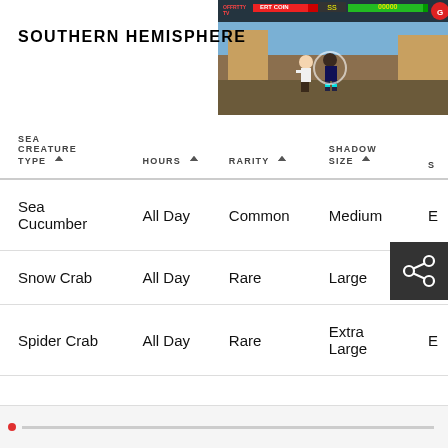[Figure (screenshot): Video game screenshot showing fighting game at top right of page, with HUD elements including health bars and score display.]
SOUTHERN HEMISPHERE
| SEA CREATURE TYPE | HOURS | RARITY | SHADOW SIZE | S |
| --- | --- | --- | --- | --- |
| Sea Cucumber | All Day | Common | Medium | E |
| Snow Crab | All Day | Rare | Large | F |
| Spider Crab | All Day | Rare | Extra Large | E |
[Figure (screenshot): Bottom video player bar with red record indicator and progress bar.]